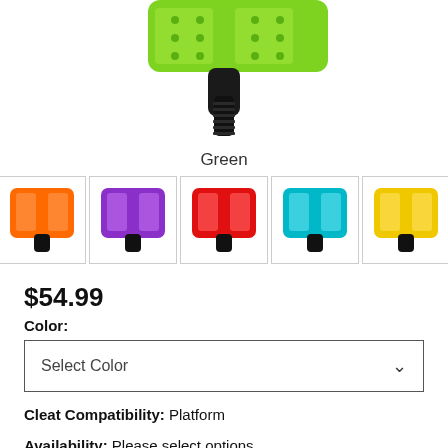[Figure (photo): Green bicycle pedal with black spindle, shown from below/side angle against white background]
Green
[Figure (other): Row of 7 color swatch images of bicycle pedals: green (selected), orange, purple, red, teal/cyan, yellow, light blue]
$54.99
Color:
Select Color
Cleat Compatibility:  Platform
Availability:  Please select options